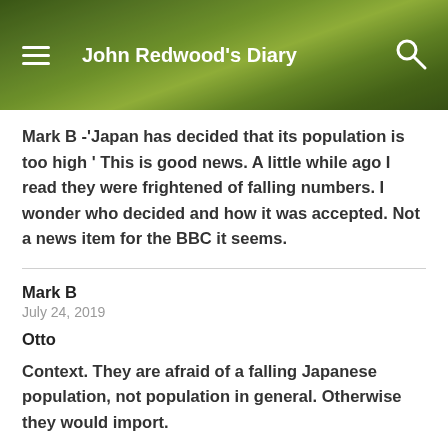John Redwood's Diary
Mark B -'Japan has decided that its population is too high ' This is good news. A little while ago I read they were frightened of falling numbers. I wonder who decided and how it was accepted. Not a news item for the BBC it seems.
Mark B
July 24, 2019
Otto
Context. They are afraid of a falling Japanese population, not population in general. Otherwise they would import.